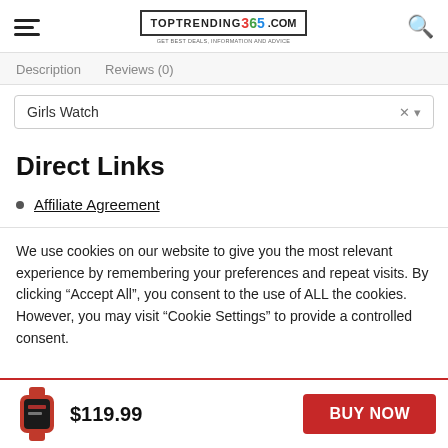TOPTRENDING 365 .COM
Description   Reviews (0)
Girls Watch
Direct Links
Affiliate Agreement
We use cookies on our website to give you the most relevant experience by remembering your preferences and repeat visits. By clicking “Accept All”, you consent to the use of ALL the cookies. However, you may visit “Cookie Settings” to provide a controlled consent.
$119.99
BUY NOW